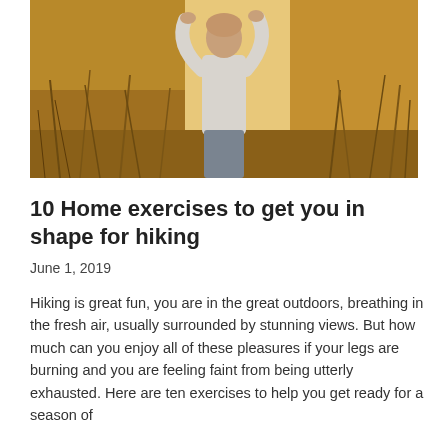[Figure (photo): A person standing outdoors in an autumnal field or meadow with golden brown dried grasses and vegetation, wearing a light grey long-sleeve shirt and grey pants, arms raised behind their head, shot from behind/side angle.]
10 Home exercises to get you in shape for hiking
June 1, 2019
Hiking is great fun, you are in the great outdoors, breathing in the fresh air, usually surrounded by stunning views. But how much can you enjoy all of these pleasures if your legs are burning and you are feeling faint from being utterly exhausted. Here are ten exercises to help you get ready for a season of